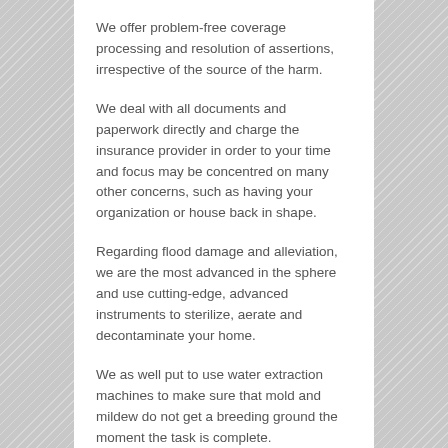We offer problem-free coverage processing and resolution of assertions, irrespective of the source of the harm.
We deal with all documents and paperwork directly and charge the insurance provider in order to your time and focus may be concentred on many other concerns, such as having your organization or house back in shape.
Regarding flood damage and alleviation, we are the most advanced in the sphere and use cutting-edge, advanced instruments to sterilize, aerate and decontaminate your home.
We as well put to use water extraction machines to make sure that mold and mildew do not get a breeding ground the moment the task is complete.